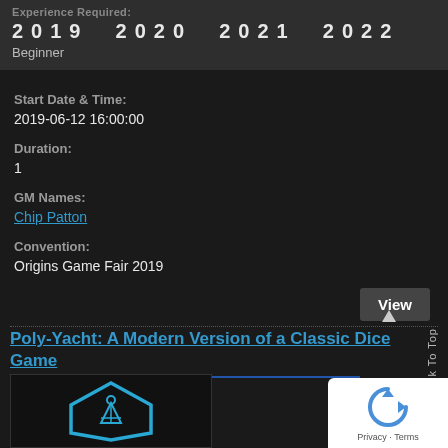Experience Required:
2019 2020 2021 2022
Beginner
Start Date & Time:
2019-06-12 16:00:00
Duration:
1
GM Names:
Chip Patton
Convention:
Origins Game Fair 2019
View
Poly-Yacht: A Modern Version of a Classic Dice Game
Back To Top
[Figure (logo): reCAPTCHA badge with blue arrow icon and Privacy - Terms text]
[Figure (illustration): Game image with blue hexagonal shape and boat/anchor icon on dark background]